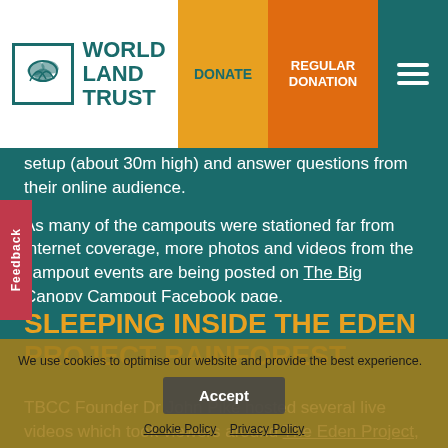World Land Trust | DONATE | REGULAR DONATION
setup (about 30m high) and answer questions from their online audience.
As many of the campouts were stationed far from internet coverage, more photos and videos from the campout events are being posted on The Big Canopy Campout Facebook page.
SLEEPING INSIDE THE EDEN PROJECT RAINFOREST
TBCC Founder Dr John Pike hosted several live videos which took viewers around The Eden Project, which hosted a remarkable campout with seven illuminated portaledges suspended from the dome over the
We use cookies to optimise our website and provide the best experience. Accept Cookie Policy Privacy Policy